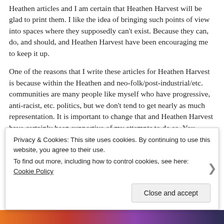Heathen articles and I am certain that Heathen Harvest will be glad to print them. I like the idea of bringing such points of view into spaces where they supposedly can't exist. Because they can, do, and should, and Heathen Harvest have been encouraging me to keep it up.
One of the reasons that I write these articles for Heathen Harvest is because within the Heathen and neo-folk/post-industrial/etc. communities are many people like myself who have progressive, anti-racist, etc. politics, but we don't tend to get nearly as much representation. It is important to change that and Heathen Harvest have certainly been supportive of my attempts to do so. You
Privacy & Cookies: This site uses cookies. By continuing to use this website, you agree to their use.
To find out more, including how to control cookies, see here: Cookie Policy